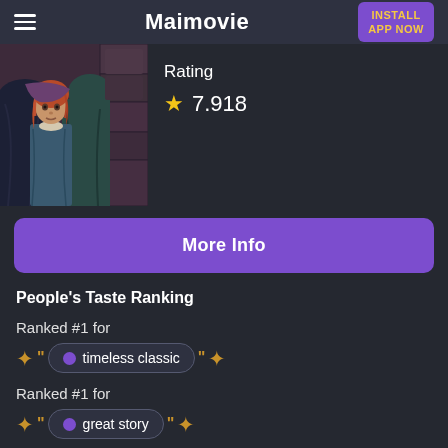Maimovie | INSTALL APP NOW
[Figure (photo): Movie still showing a young girl with red hair in period costume being held by adult figures in dark robes, stone wall background]
Rating ★ 7.918
More Info
People's Taste Ranking
Ranked #1 for
timeless classic
Ranked #1 for
great story